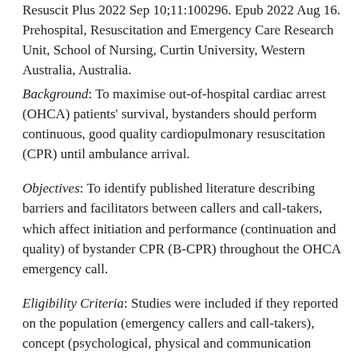Resuscit Plus 2022 Sep 10;11:100296. Epub 2022 Aug 16. Prehospital, Resuscitation and Emergency Care Research Unit, School of Nursing, Curtin University, Western Australia, Australia.
Background: To maximise out-of-hospital cardiac arrest (OHCA) patients' survival, bystanders should perform continuous, good quality cardiopulmonary resuscitation (CPR) until ambulance arrival.
Objectives: To identify published literature describing barriers and facilitators between callers and call-takers, which affect initiation and performance (continuation and quality) of bystander CPR (B-CPR) throughout the OHCA emergency call.
Eligibility Criteria: Studies were included if they reported on the population (emergency callers and call-takers), concept (psychological, physical and communication barriers and facilitators impacting the initiation and performance of B-CPR) and context (studies that analysed OHCA emergency calls). Read More